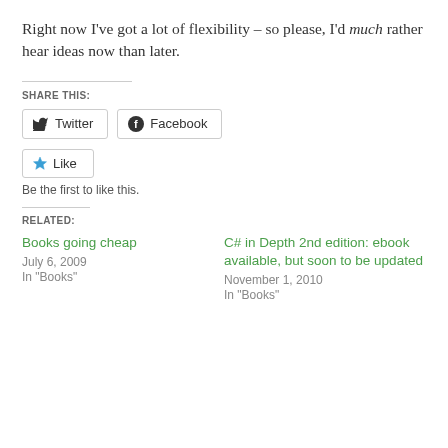Right now I've got a lot of flexibility – so please, I'd much rather hear ideas now than later.
SHARE THIS:
[Figure (other): Social sharing buttons: Twitter and Facebook, followed by a Like button]
Be the first to like this.
RELATED:
Books going cheap
July 6, 2009
In "Books"
C# in Depth 2nd edition: ebook available, but soon to be updated
November 1, 2010
In "Books"